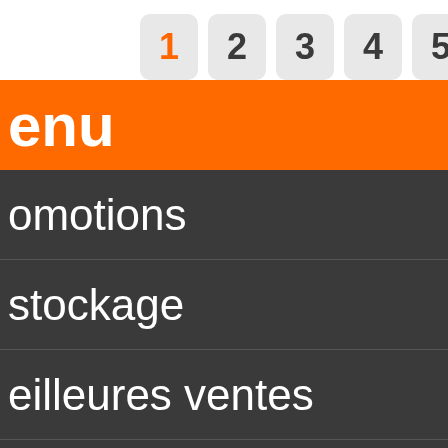[Figure (screenshot): Navigation tab bar with page buttons numbered 1 through 6, button 1 is active with orange text]
enu
omotions
stockage
eilleures ventes